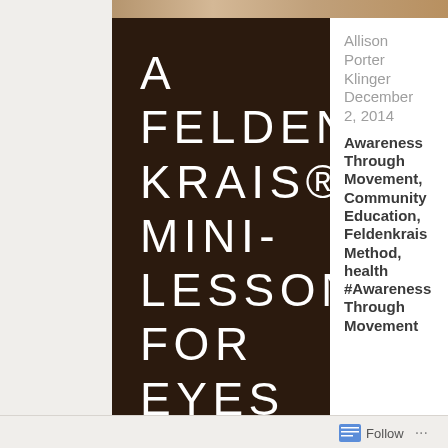[Figure (photo): Partial photograph strip visible at the top of the left panel]
A FELDEN KRAIS® MINI-LESSON FOR EYES
Allison Porter Klinger
December 2, 2014
Awareness Through Movement, Community Education, Feldenkrais Method, health #Awareness Through Movement